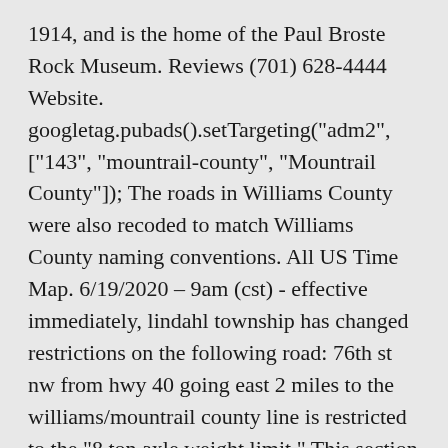1914, and is the home of the Paul Broste Rock Museum. Reviews (701) 628-4444 Website. googletag.pubads().setTargeting("adm2", ["143", "mountrail-county", "Mountrail County"]); The roads in Williams County were also recoded to match Williams County naming conventions. All US Time Map. 6/19/2020 – 9am (cst) - effective immediately, lindahl township has changed restrictions on the following road: 76th st nw from hwy 40 going east 2 miles to the williams/mountrail county line is restricted to the "8 ton axle weight limit." This section compares the 50 most populous of those to each other, Mountrail County, and other entities that contain or substantially overlap with Mountrail County. Prom this th...